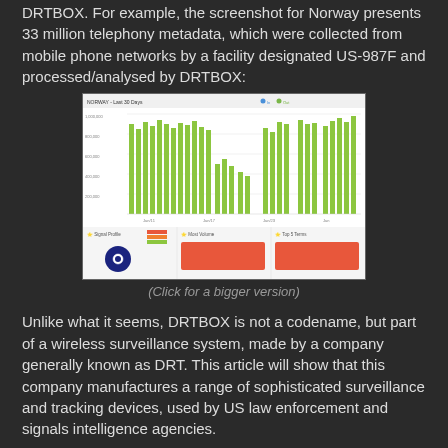DRTBOX. For example, the screenshot for Norway presents 33 million telephony metadata, which were collected from mobile phone networks by a facility designated US-987F and processed/analysed by DRTBOX:
[Figure (screenshot): Dashboard screenshot labeled 'NORWAY - Last 30 Days' showing a bar chart with green bars representing telephony metadata counts over time, and below panels for Signal Profile (with a dark blue circle), Most Volume (red/orange panel), and Top 5 Terms (red/orange panel).]
(Click for a bigger version)
Unlike what it seems, DRTBOX is not a codename, but part of a wireless surveillance system, made by a company generally known as DRT. This article will show that this company manufactures a range of sophisticated surveillance and tracking devices, used by US law enforcement and signals intelligence agencies.